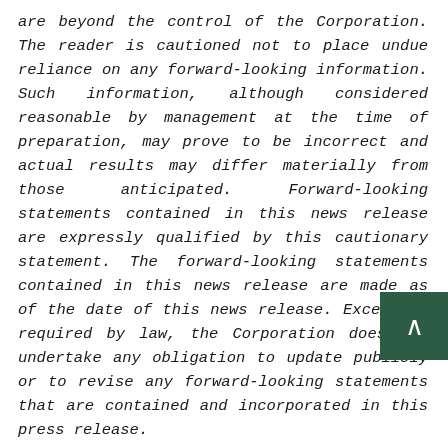are beyond the control of the Corporation. The reader is cautioned not to place undue reliance on any forward-looking information. Such information, although considered reasonable by management at the time of preparation, may prove to be incorrect and actual results may differ materially from those anticipated. Forward-looking statements contained in this news release are expressly qualified by this cautionary statement. The forward-looking statements contained in this news release are made as of the date of this news release. Except as required by law, the Corporation does not undertake any obligation to update publicly or to revise any forward-looking statements that are contained and incorporated in this press release.

In the case of RV, this news release includes